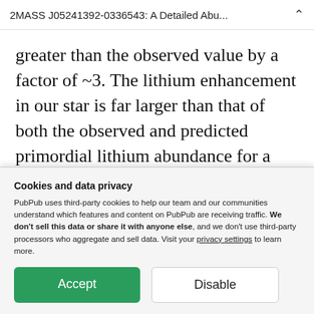2MASS J05241392-0336543: A Detailed Abu...
greater than the observed value by a factor of ~3. The lithium enhancement in our star is far larger than that of both the observed and predicted primordial lithium abundance for a metal-poor star. This indicated towards a non-trivial mechanism to produce or accrete lithium.
Cookies and data privacy
PubPub uses third-party cookies to help our team and our communities understand which features and content on PubPub are receiving traffic. We don't sell this data or share it with anyone else, and we don't use third-party processors who aggregate and sell data. Visit your privacy settings to learn more.